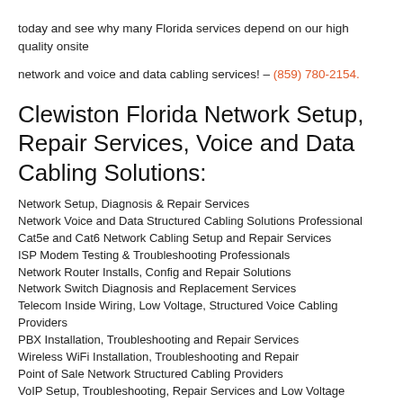today and see why many Florida services depend on our high quality onsite
network and voice and data cabling services! – (859) 780-2154.
Clewiston Florida Network Setup, Repair Services, Voice and Data Cabling Solutions:
Network Setup, Diagnosis & Repair Services
Network Voice and Data Structured Cabling Solutions Professional
Cat5e and Cat6 Network Cabling Setup and Repair Services
ISP Modem Testing & Troubleshooting Professionals
Network Router Installs, Config and Repair Solutions
Network Switch Diagnosis and Replacement Services
Telecom Inside Wiring, Low Voltage, Structured Voice Cabling Providers
PBX Installation, Troubleshooting and Repair Services
Wireless WiFi Installation, Troubleshooting and Repair
Point of Sale Network Structured Cabling Providers
VoIP Setup, Troubleshooting, Repair Services and Low Voltage Cabling Solutions